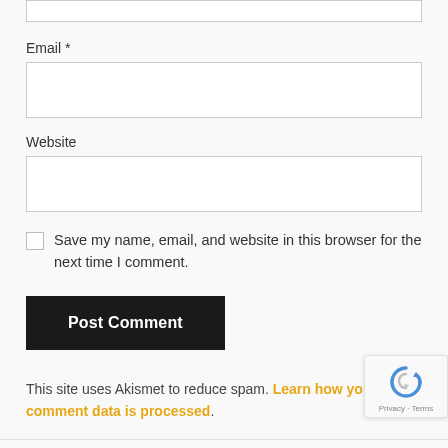[Figure (screenshot): Top input field (partially visible at top of page), an empty text input box with light gray border]
Email *
[Figure (screenshot): Email input field, empty text input box with light gray border]
Website
[Figure (screenshot): Website input field, empty text input box with light gray border]
Save my name, email, and website in this browser for the next time I comment.
[Figure (screenshot): Post Comment button, dark/black background with white bold text]
This site uses Akismet to reduce spam. Learn how your comment data is processed.
[Figure (logo): reCAPTCHA badge with Privacy - Terms text]